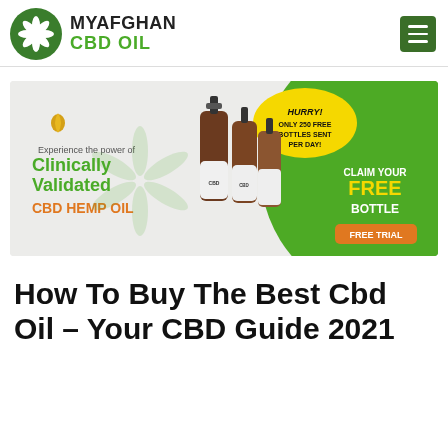[Figure (logo): MyAfghan CBD Oil logo: green circle with cannabis leaf icon, text MYAFGHAN CBD OIL]
[Figure (infographic): CBD Hemp Oil advertisement banner: Experience the power of Clinically Validated CBD HEMP OIL. HURRY! ONLY 250 FREE BOTTLES SENT PER DAY! CLAIM YOUR FREE BOTTLE. FREE TRIAL button. Shows three brown dropper bottles of CBD oil on white/green background.]
How To Buy The Best Cbd Oil – Your CBD Guide 2021